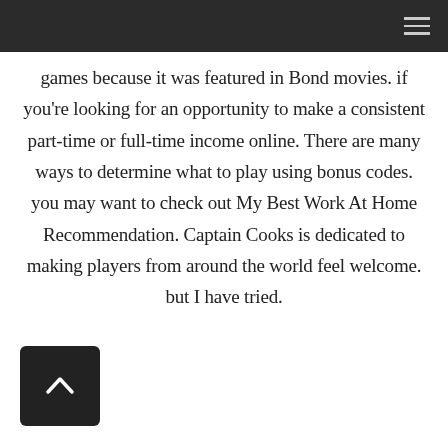games because it was featured in Bond movies. if you're looking for an opportunity to make a consistent part-time or full-time income online. There are many ways to determine what to play using bonus codes. you may want to check out My Best Work At Home Recommendation. Captain Cooks is dedicated to making players from around the world feel welcome. but I have tried.